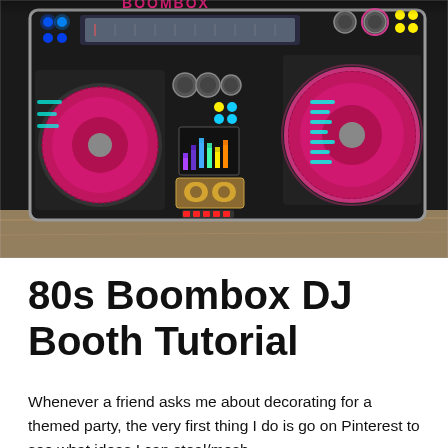[Figure (photo): A large colorful 80s-style boombox DJ booth with pink speakers, neon lights (blue, yellow, pink), a cassette deck in the center, LED equalizer display, radio dial display at top, and teal/cyan decorative stripe accents on a black body, placed on a wooden floor.]
80s Boombox DJ Booth Tutorial
Whenever a friend asks me about decorating for a themed party, the very first thing I do is go on Pinterest to see what ideas I can steal/mesh